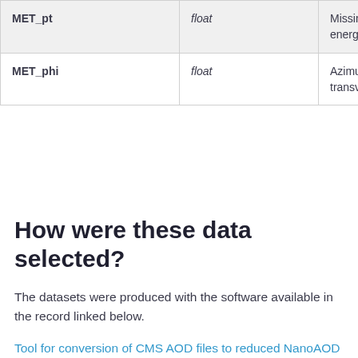| Name | Type | Description |
| --- | --- | --- |
| MET_pt | float | Missing transve energy |
| MET_phi | float | Azimut of the n transve energy |
How were these data selected?
The datasets were produced with the software available in the record linked below.
Tool for conversion of CMS AOD files to reduced NanoAOD format for the purpose of education and outreach